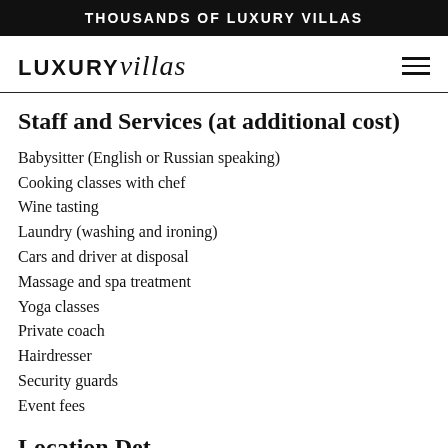THOUSANDS OF LUXURY VILLAS
[Figure (logo): LUXURYvillas logo with hamburger menu icon]
Staff and Services (at additional cost)
Babysitter (English or Russian speaking)
Cooking classes with chef
Wine tasting
Laundry (washing and ironing)
Cars and driver at disposal
Massage and spa treatment
Yoga classes
Private coach
Hairdresser
Security guards
Event fees
Location Details